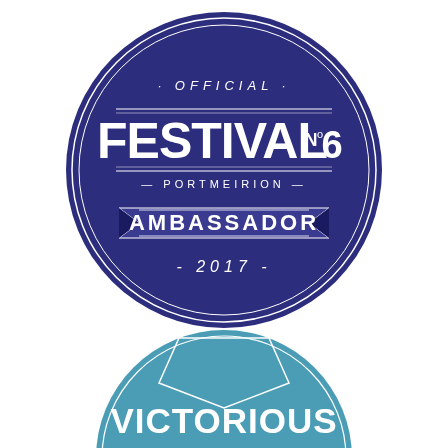[Figure (logo): Official Festival No6 Portmeirion Ambassador 2017 badge — dark navy blue circle with white double-ring border, containing text: '· OFFICIAL ·', large 'FESTIVAL Nº6', '— PORTMEIRION —', banner ribbon with 'AMBASSADOR', and '- 2017 -']
[Figure (logo): Victorious Festival badge — teal/light blue circle partially visible at bottom of page, containing text 'VICTORIOUS' in large white bold letters and partially visible text below]